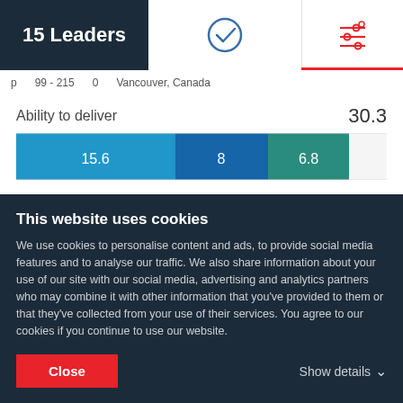15 Leaders
[Figure (screenshot): Navigation icons: checkmark icon and tune/settings icon with red underline]
p    99 - 215    0    Vancouver, Canada
Ability to deliver    30.3
[Figure (stacked-bar-chart): Ability to deliver]
Reviews
Service Focus
This website uses cookies
We use cookies to personalise content and ads, to provide social media features and to analyse our traffic. We also share information about your use of our site with our social media, advertising and analytics partners who may combine it with other information that you've provided to them or that they've collected from your use of their services. You agree to our cookies if you continue to use our website.
Close
Show details